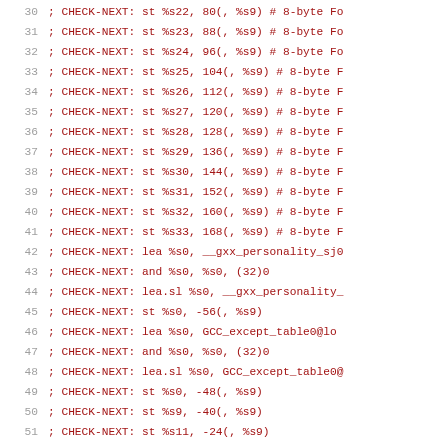30  ; CHECK-NEXT:    st %s22, 80(, %s9) # 8-byte Fo
31  ; CHECK-NEXT:    st %s23, 88(, %s9) # 8-byte Fo
32  ; CHECK-NEXT:    st %s24, 96(, %s9) # 8-byte Fo
33  ; CHECK-NEXT:    st %s25, 104(, %s9) # 8-byte F
34  ; CHECK-NEXT:    st %s26, 112(, %s9) # 8-byte F
35  ; CHECK-NEXT:    st %s27, 120(, %s9) # 8-byte F
36  ; CHECK-NEXT:    st %s28, 128(, %s9) # 8-byte F
37  ; CHECK-NEXT:    st %s29, 136(, %s9) # 8-byte F
38  ; CHECK-NEXT:    st %s30, 144(, %s9) # 8-byte F
39  ; CHECK-NEXT:    st %s31, 152(, %s9) # 8-byte F
40  ; CHECK-NEXT:    st %s32, 160(, %s9) # 8-byte F
41  ; CHECK-NEXT:    st %s33, 168(, %s9) # 8-byte F
42  ; CHECK-NEXT:    lea %s0, __gxx_personality_sj0
43  ; CHECK-NEXT:    and %s0, %s0, (32)0
44  ; CHECK-NEXT:    lea.sl %s0, __gxx_personality_
45  ; CHECK-NEXT:    st %s0, -56(, %s9)
46  ; CHECK-NEXT:    lea %s0, GCC_except_table0@lo
47  ; CHECK-NEXT:    and %s0, %s0, (32)0
48  ; CHECK-NEXT:    lea.sl %s0, GCC_except_table0@
49  ; CHECK-NEXT:    st %s0, -48(, %s9)
50  ; CHECK-NEXT:    st %s9, -40(, %s9)
51  ; CHECK-NEXT:    st %s11, -24(, %s9)